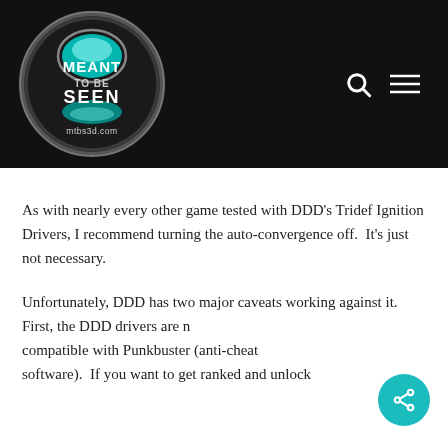[Figure (logo): Meant To Be Seen logo — circular metallic badge with teal accent and text 'MEANT TO BE SEEN' and 'mtbs3d.com']
As with nearly every other game tested with DDD's Tridef Ignition Drivers, I recommend turning the auto-convergence off.  It's just not necessary.
Unfortunately, DDD has two major caveats working against it.  First, the DDD drivers are not compatible with Punkbuster (anti-cheat software).  If you want to get ranked and unlock